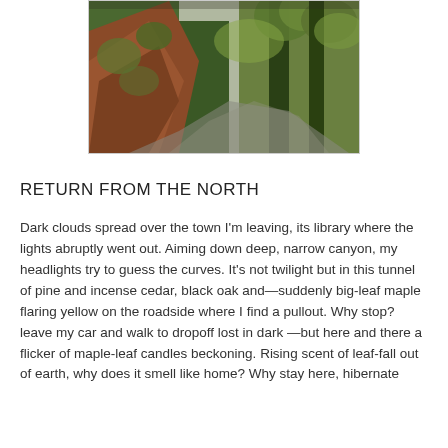[Figure (photo): A forested canyon road scene with tall green trees, reddish-brown exposed earthen hillside or rockslide on the left, and a winding narrow road visible in the lower right. Overcast lighting.]
RETURN FROM THE NORTH
Dark clouds spread over the town I'm leaving, its library where the lights abruptly went out. Aiming down deep, narrow canyon, my headlights try to guess the curves. It's not twilight but in this tunnel of pine and incense cedar, black oak and—suddenly big-leaf maple flaring yellow on the roadside where I find a pullout. Why stop? leave my car and walk to dropoff lost in dark —but here and there a flicker of maple-leaf candles beckoning. Rising scent of leaf-fall out of earth, why does it smell like home? Why stay here, hibernate